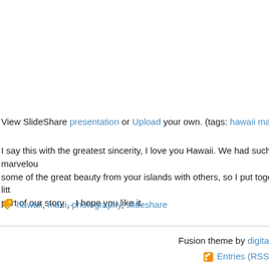View SlideShare presentation or Upload your own. (tags: hawaii maui)
I say this with the greatest sincerity, I love you Hawaii. We had such a marvelous time and I wanted to share some of the great beauty from your islands with others, so I put together this little slideshow. It's only a small part of our story… I hope you like it.
hawaii, maui, photography, slideshare
Fusion theme by digita  Entries (RSS)